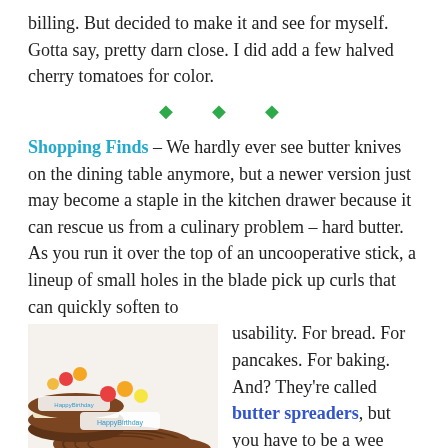billing. But decided to make it and see for myself. Gotta say, pretty darn close. I did add a few halved cherry tomatoes for color.
[Figure (other): Three green diamond decorative divider symbols]
Shopping Finds – We hardly ever see butter knives on the dining table anymore, but a newer version just may become a staple in the kitchen drawer because it can rescue us from a culinary problem – hard butter. As you run it over the top of an uncooperative stick, a lineup of small holes in the blade pick up curls that can quickly soften to usability. For bread. For pancakes. For baking. And? They're called butter spreaders, but you have to be a wee careful because some just regular butter knives on the Amazon page also use this
[Figure (photo): Photo of chocolate covered sandwich cookies with Happy Birthday decoration and colorful candy pieces on top]